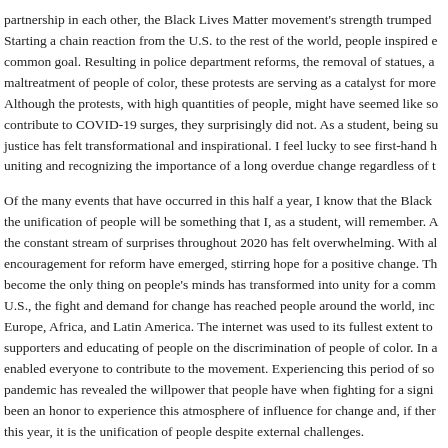partnership in each other, the Black Lives Matter movement's strength trumped Starting a chain reaction from the U.S. to the rest of the world, people inspired e common goal. Resulting in police department reforms, the removal of statues, a maltreatment of people of color, these protests are serving as a catalyst for more Although the protests, with high quantities of people, might have seemed like so contribute to COVID-19 surges, they surprisingly did not. As a student, being su justice has felt transformational and inspirational. I feel lucky to see first-hand h uniting and recognizing the importance of a long overdue change regardless of t
Of the many events that have occurred in this half a year, I know that the Black the unification of people will be something that I, as a student, will remember. A the constant stream of surprises throughout 2020 has felt overwhelming. With al encouragement for reform have emerged, stirring hope for a positive change. Th become the only thing on people's minds has transformed into unity for a comm U.S., the fight and demand for change has reached people around the world, inc Europe, Africa, and Latin America. The internet was used to its fullest extent to supporters and educating of people on the discrimination of people of color. In a enabled everyone to contribute to the movement. Experiencing this period of so pandemic has revealed the willpower that people have when fighting for a signi been an honor to experience this atmosphere of influence for change and, if ther this year, it is the unification of people despite external challenges.